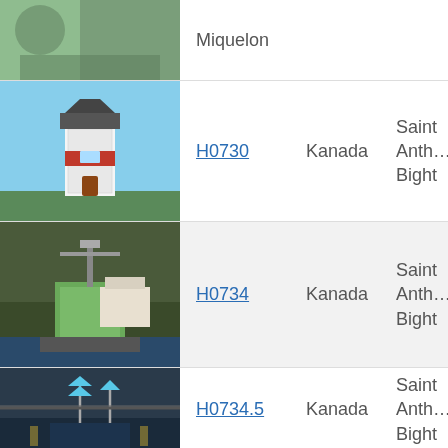| Photo | ID | Country | Location |
| --- | --- | --- | --- |
| [photo: lighthouse] | H0730 | Kanada | Saint Anth… Bight |
| [photo: navigation aid] | H0734 | Kanada | Saint Anth… Bight |
| [photo: navigation lights] | H0734.5 | Kanada | Saint Anth… Bight |